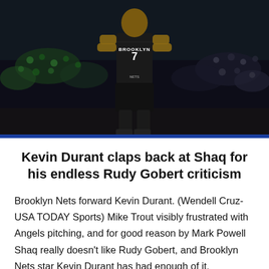[Figure (photo): Brooklyn Nets player wearing black jersey number 7 with 'BROOKLYN' text, standing with hands on hips on basketball court with crowd in background. Blue stripe accent at bottom of image.]
Kevin Durant claps back at Shaq for his endless Rudy Gobert criticism
Brooklyn Nets forward Kevin Durant. (Wendell Cruz-USA TODAY Sports) Mike Trout visibly frustrated with Angels pitching, and for good reason by Mark Powell Shaq really doesn't like Rudy Gobert, and Brooklyn Nets star Kevin Durant has had enough of it.  Shaquille O'Neal is a regular feature on side the NBA and always...